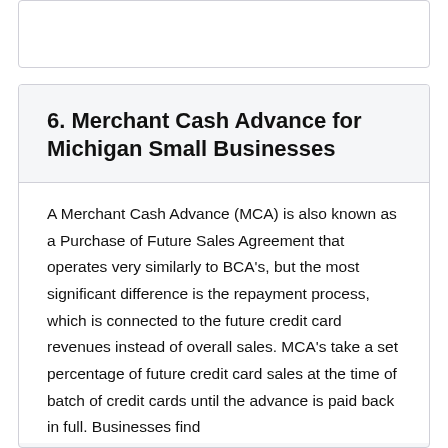6. Merchant Cash Advance for Michigan Small Businesses
A Merchant Cash Advance (MCA) is also known as a Purchase of Future Sales Agreement that operates very similarly to BCA’s, but the most significant difference is the repayment process, which is connected to the future credit card revenues instead of overall sales. MCA’s take a set percentage of future credit card sales at the time of batch of credit cards until the advance is paid back in full. Businesses find